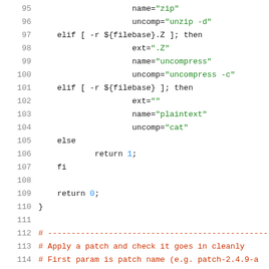[Figure (screenshot): Shell script source code showing lines 95-116, including elif/else/fi conditionals, variable assignments (ext, name, uncomp), return statements, comments, and the start of applyPatch function.]